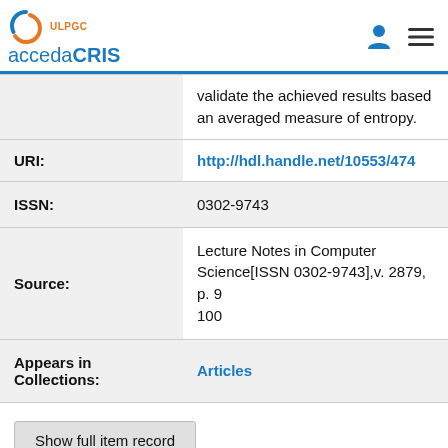accedaCRIS — ULPGC
validate the achieved results based on an averaged measure of entropy.
| Field | Value |
| --- | --- |
| URI: | http://hdl.handle.net/10553/474… |
| ISSN: | 0302-9743 |
| Source: | Lecture Notes in Computer Science[ISSN 0302-9743],v. 2879, p. … 100 |
| Appears in Collections: | Articles |
Show full item record